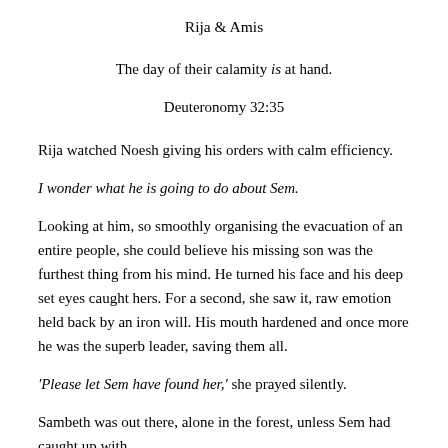Rija & Amis
The day of their calamity is at hand.
Deuteronomy 32:35
Rija watched Noesh giving his orders with calm efficiency.
I wonder what he is going to do about Sem.
Looking at him, so smoothly organising the evacuation of an entire people, she could believe his missing son was the furthest thing from his mind. He turned his face and his deep set eyes caught hers. For a second, she saw it, raw emotion held back by an iron will. His mouth hardened and once more he was the superb leader, saving them all.
'Please let Sem have found her,' she prayed silently.
Sambeth was out there, alone in the forest, unless Sem had caught up with